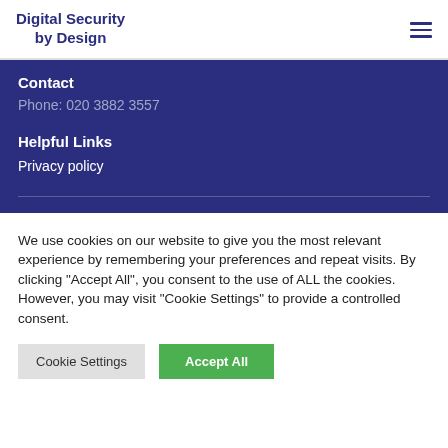Digital Security by Design
Contact
Phone: 020 3882 3557
Helpful Links
Privacy policy
We use cookies on our website to give you the most relevant experience by remembering your preferences and repeat visits. By clicking "Accept All", you consent to the use of ALL the cookies. However, you may visit "Cookie Settings" to provide a controlled consent.
Cookie Settings | Accept All